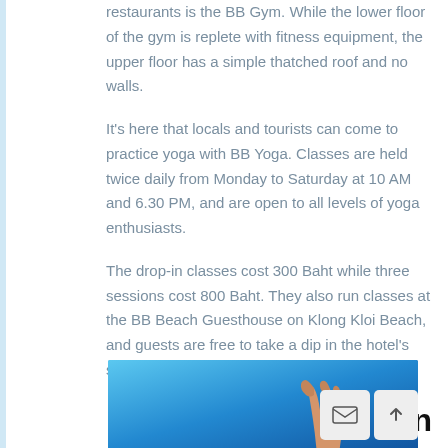restaurants is the BB Gym. While the lower floor of the gym is replete with fitness equipment, the upper floor has a simple thatched roof and no walls.
It's here that locals and tourists can come to practice yoga with BB Yoga. Classes are held twice daily from Monday to Saturday at 10 AM and 6.30 PM, and are open to all levels of yoga enthusiasts.
The drop-in classes cost 300 Baht while three sessions cost 800 Baht. They also run classes at the BB Beach Guesthouse on Klong Kloi Beach, and guests are free to take a dip in the hotel's swimming pool after class.
Blue Lagoon Yoga on Klong Prao Beach
[Figure (photo): Photo showing a blue sky background with what appears to be a person's raised hand/arm, with two UI buttons overlaid: an envelope/email button and an up-arrow scroll button.]